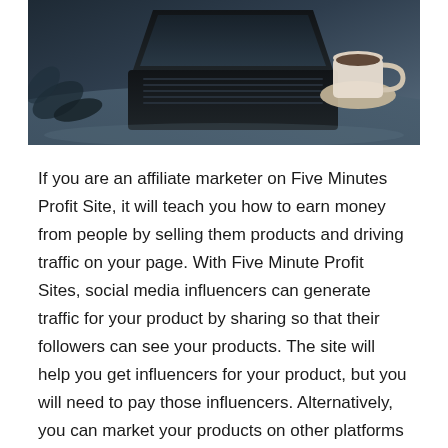[Figure (photo): Photograph of a laptop and coffee cup on a desk, viewed from above at an angle, with dark bluish-grey tones]
If you are an affiliate marketer on Five Minutes Profit Site, it will teach you how to earn money from people by selling them products and driving traffic on your page. With Five Minute Profit Sites, social media influencers can generate traffic for your product by sharing so that their followers can see your products. The site will help you get influencers for your product, but you will need to pay those influencers. Alternatively, you can market your products on other platforms as well. The bottom line is to make sales and earn a commission.